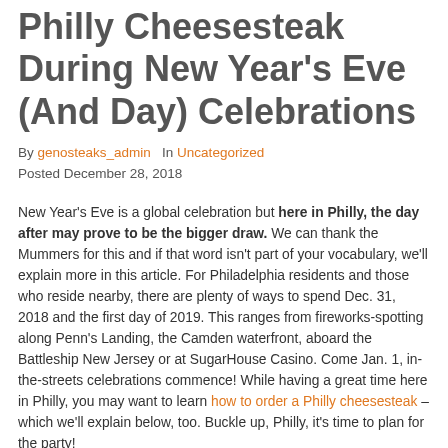Philly Cheesesteak During New Year's Eve (And Day) Celebrations
By genosteaks_admin   In Uncategorized
Posted December 28, 2018
New Year's Eve is a global celebration but here in Philly, the day after may prove to be the bigger draw. We can thank the Mummers for this and if that word isn't part of your vocabulary, we'll explain more in this article. For Philadelphia residents and those who reside nearby, there are plenty of ways to spend Dec. 31, 2018 and the first day of 2019. This ranges from fireworks-spotting along Penn's Landing, the Camden waterfront, aboard the Battleship New Jersey or at SugarHouse Casino. Come Jan. 1, in-the-streets celebrations commence! While having a great time here in Philly, you may want to learn how to order a Philly cheesesteak – which we'll explain below, too. Buckle up, Philly, it's time to plan for the party!
Fireworks: Both sides of the Delaware River offer